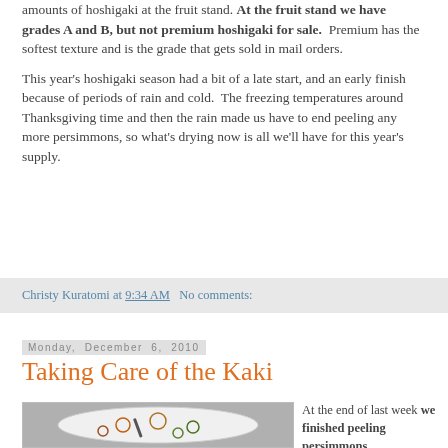amounts of hoshigaki at the fruit stand. At the fruit stand we have grades A and B, but not premium hoshigaki for sale. Premium has the softest texture and is the grade that gets sold in mail orders.
This year's hoshigaki season had a bit of a late start, and an early finish because of periods of rain and cold. The freezing temperatures around Thanksgiving time and then the rain made us have to end peeling any more persimmons, so what's drying now is all we'll have for this year's supply.
Christy Kuratomi at 9:34 AM   No comments:
Monday, December 6, 2010
Taking Care of the Kaki
[Figure (photo): Bowl of peeled persimmon rings/slices in orange and green colors, with what appears to be a tool or implement resting on them]
At the end of last week we finished peeling persimmons